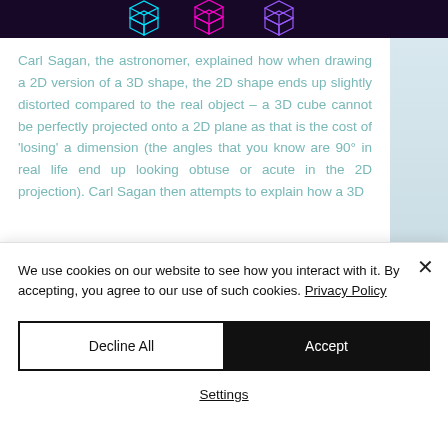[Figure (illustration): Dark purple/black banner with colorful 3D geometric cube wireframes in cyan, magenta, and purple colors]
Carl Sagan, the astronomer, explained how when drawing a 2D version of a 3D shape, the 2D shape ends up slightly distorted compared to the real object – a 3D cube cannot be perfectly projected onto a 2D plane as that is the cost of 'losing' a dimension (the angles that you know are 90° in real life end up looking obtuse or acute in the 2D projection). Carl Sagan then attempts to explain how a 3D
We use cookies on our website to see how you interact with it. By accepting, you agree to our use of such cookies. Privacy Policy
Decline All
Accept
Settings